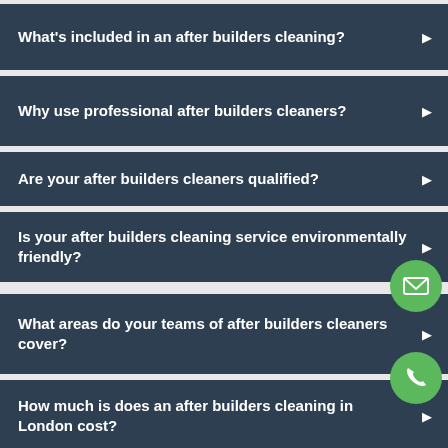What's included in an after builders cleaning?
Why use professional after builders cleaners?
Are your after builders cleaners qualified?
Is your after builders cleaning service environmentally friendly?
What areas do your teams of after builders cleaners cover?
How much is does an after builders cleaning in London cost?